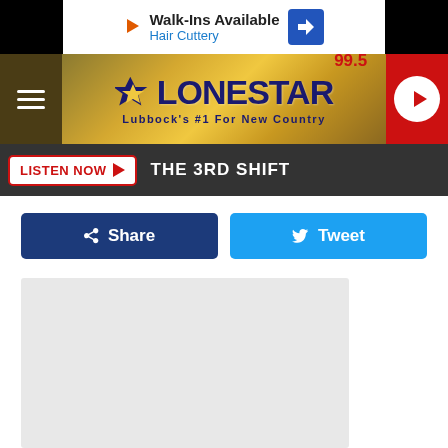[Figure (screenshot): Ad banner: Walk-Ins Available / Hair Cuttery with play icon and blue arrow sign]
[Figure (logo): 99.5 Lonestar radio station logo on golden background with hamburger menu and play button]
LISTEN NOW ▶ THE 3RD SHIFT
Share
Tweet
[Figure (photo): Gray placeholder content area]